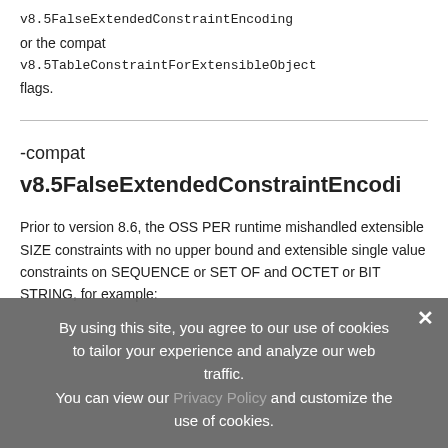v8.5FalseExtendedConstraintEncoding or the compat v8.5TableConstraintForExtensibleObject flags.
-compat
v8.5FalseExtendedConstraintEncodi
Prior to version 8.6, the OSS PER runtime mishandled extensible SIZE constraints with no upper bound and extensible single value constraints on SEQUENCE or SET OF and OCTET or BIT STRING, for example:
By using this site, you agree to our use of cookies to tailor your experience and analyze our web traffic. You can view our Privacy Policy and customize the use of cookies.